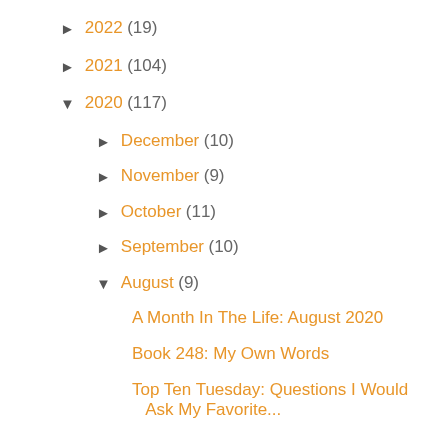► 2022 (19)
► 2021 (104)
▼ 2020 (117)
► December (10)
► November (9)
► October (11)
► September (10)
▼ August (9)
A Month In The Life: August 2020
Book 248: My Own Words
Top Ten Tuesday: Questions I Would Ask My Favorite...